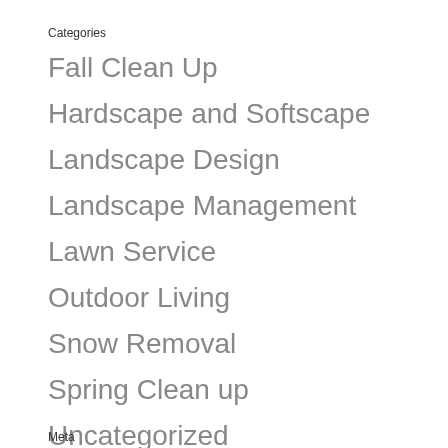Categories
Fall Clean Up
Hardscape and Softscape
Landscape Design
Landscape Management
Lawn Service
Outdoor Living
Snow Removal
Spring Clean up
Uncategorized
Meta